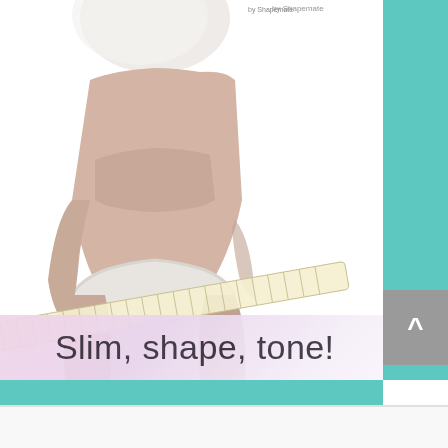[Figure (photo): A woman in white bra and underwear with a measuring tape wrapped around her hips/thighs, shown from shoulders to mid-thigh. Image is used to promote body slimming/toning. A teal border frames the right and bottom of the image. A pink/lavender semi-transparent banner overlays the bottom of the photo with the text 'Slim, shape, tone!'. A gray scroll-up button with a caret (^) appears at the right. A small brand logo appears at top right of the white area.]
Slim, shape, tone!